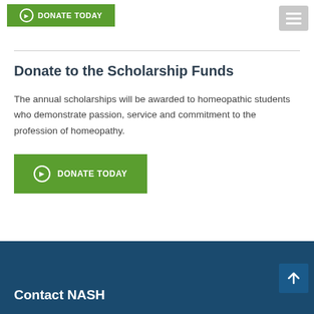[Figure (other): Green Donate Today button at top of page with circle arrow icon]
[Figure (other): Grey hamburger menu button in top right corner]
Donate to the Scholarship Funds
The annual scholarships will be awarded to homeopathic students who demonstrate passion, service and commitment to the profession of homeopathy.
[Figure (other): Green Donate Today button with circle arrow icon]
Contact NASH